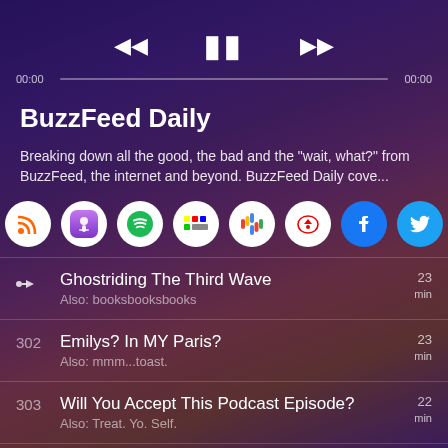[Figure (screenshot): Podcast player UI with media controls (rewind, pause, fast-forward), progress bar showing 00:00 / 00:00]
BuzzFeed Daily
Breaking down all the good, the bad and the "wait, what?" from BuzzFeed, the internet and beyond. BuzzFeed Daily cove...
[Figure (infographic): Row of platform icons: RSS, Apple Podcasts, Spotify, YouTube Music, Google Podcasts, iHeartRadio, Facebook, Twitter]
Ghostriding The Third Wave — Also: booksbooksbooks — 23 min
302 — Emilys? In MY Paris? — Also: mmm...toast. — 23 min
303 — Will You Accept This Podcast Episode? — Also: Treat. Yo. Self. — 22 min